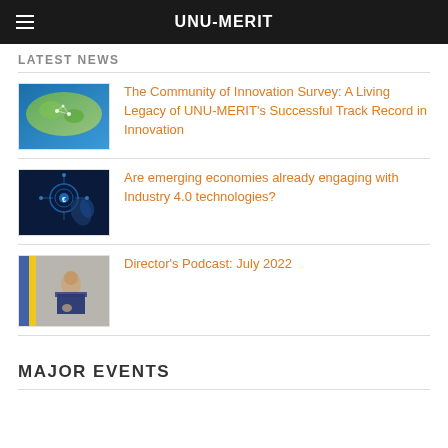UNU-MERIT
LATEST NEWS
[Figure (photo): Map of Europe with network nodes highlighted]
The Community of Innovation Survey: A Living Legacy of UNU-MERIT’s Successful Track Record in Innovation
[Figure (photo): Dark blue background with digital technology circuit hand image]
Are emerging economies already engaging with Industry 4.0 technologies?
[Figure (photo): Man in suit speaking at a podium with blue and yellow banner]
Director’s Podcast: July 2022
MAJOR EVENTS